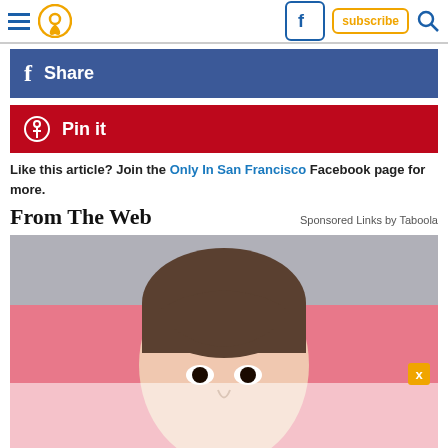Navigation header with menu, location pin, Facebook, subscribe, search icons
[Figure (other): Facebook Share button - blue background with 'f Share' text]
[Figure (other): Pinterest Pin it button - red background with Pinterest icon and 'Pin it' text]
Like this article? Join the Only In San Francisco Facebook page for more.
From The Web
Sponsored Links by Taboola
[Figure (photo): Advertisement photo of a woman with dark hair against a pink background, partially obscured by a white overlay at the bottom]